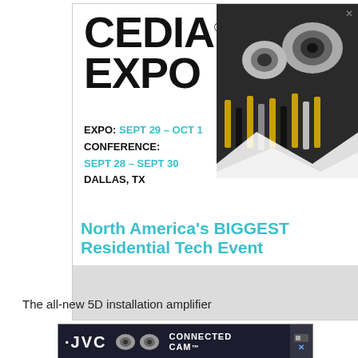[Figure (infographic): CEDIA EXPO advertisement banner showing logo, event dates (EXPO: SEPT 29 – OCT 1, CONFERENCE: SEPT 28 – SEPT 30, DALLAS, TX), photo of AV equipment and cameras, and tagline 'North America's BIGGEST Residential Tech Event']
The all-new 5D installation amplifier
[Figure (infographic): JVC CONNECTED CAM advertisement banner with cameras and logo on dark background]